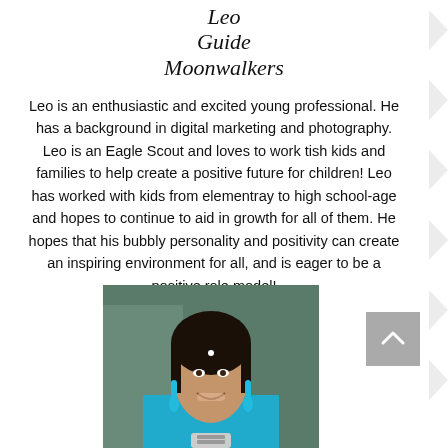Leo
Guide
Moonwalkers
Leo is an enthusiastic and excited young professional. He has a background in digital marketing and photography. Leo is an Eagle Scout and loves to work tish kids and families to help create a positive future for children! Leo has worked with kids from elementray to high school-age and hopes to continue to aid in growth for all of them. He hopes that his bubbly personality and positivity can create an inspiring environment for all, and is eager to be a positive role model!
[Figure (photo): Portrait photo of a young woman smiling, wearing teal/turquoise earrings and a teal top, with a small bindi on her forehead.]